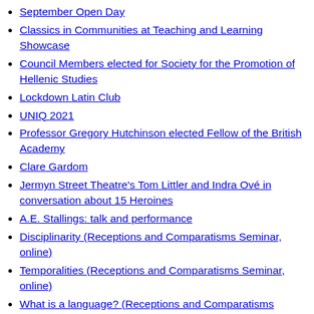September Open Day
Classics in Communities at Teaching and Learning Showcase
Council Members elected for Society for the Promotion of Hellenic Studies
Lockdown Latin Club
UNIQ 2021
Professor Gregory Hutchinson elected Fellow of the British Academy
Clare Gardom
Jermyn Street Theatre's Tom Littler and Indra Ové in conversation about 15 Heroines
A.E. Stallings: talk and performance
Disciplinarity (Receptions and Comparatisms Seminar, online)
Temporalities (Receptions and Comparatisms Seminar, online)
What is a language? (Receptions and Comparatisms Seminar, online)
Orality and script worlds (Receptions and Comparatisms Seminar, online)